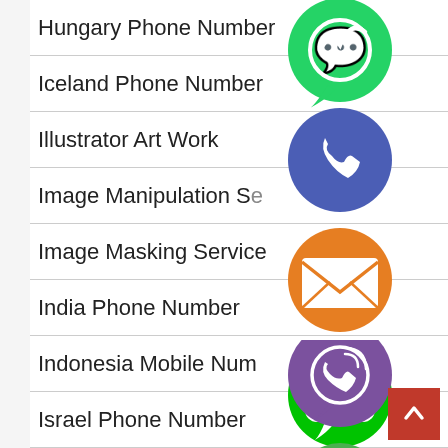Hungary Phone Number
Iceland Phone Number
Illustrator Art Work
Image Manipulation Se…
Image Masking Service
India Phone Number
Indonesia Mobile Num…
Israel Phone Number
Italy Phone Number
[Figure (illustration): Stacked social media / communication icons overlapping the list: WhatsApp (green), phone (blue/purple), email/envelope (orange), LINE (green), Viber (purple), close/X (green)]